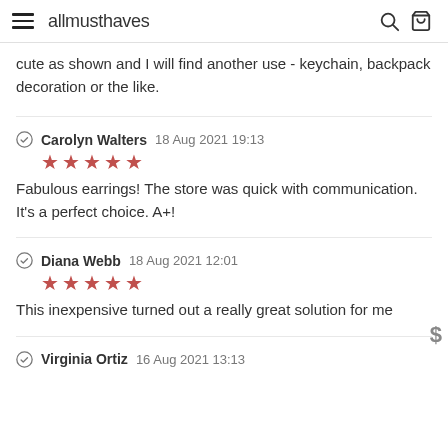allmusthaves
cute as shown and I will find another use - keychain, backpack decoration or the like.
Carolyn Walters 18 Aug 2021 19:13 ★★★★★ Fabulous earrings! The store was quick with communication. It's a perfect choice. A+!
Diana Webb 18 Aug 2021 12:01 ★★★★★ This inexpensive turned out a really great solution for me
Virginia Ortiz 16 Aug 2021 13:13